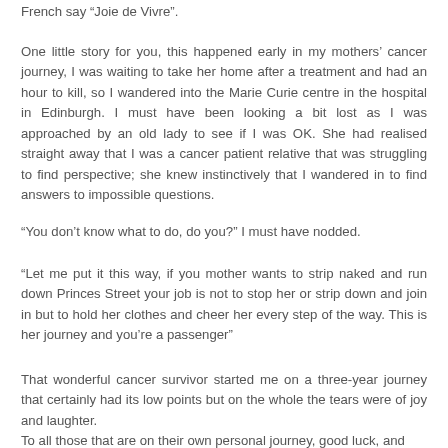French say “Joie de Vivre”.
One little story for you, this happened early in my mothers’ cancer journey, I was waiting to take her home after a treatment and had an hour to kill, so I wandered into the Marie Curie centre in the hospital in Edinburgh. I must have been looking a bit lost as I was approached by an old lady to see if I was OK. She had realised straight away that I was a cancer patient relative that was struggling to find perspective; she knew instinctively that I wandered in to find answers to impossible questions.
“You don’t know what to do, do you?” I must have nodded.
“Let me put it this way, if you mother wants to strip naked and run down Princes Street your job is not to stop her or strip down and join in but to hold her clothes and cheer her every step of the way. This is her journey and you’re a passenger”
That wonderful cancer survivor started me on a three-year journey that certainly had its low points but on the whole the tears were of joy and laughter.
To all those that are on their own personal journey, good luck, and